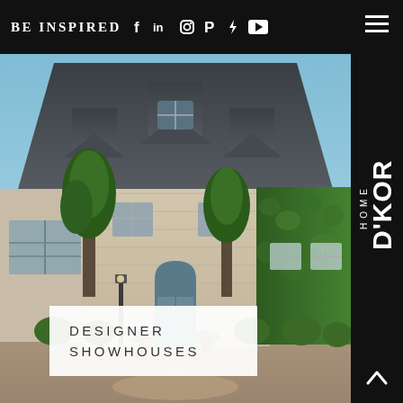BE INSPIRED
[Figure (photo): Exterior photo of a large French country-style stone mansion with dark slate hip roof, blue French doors, arched entry, dormer windows, ivy-covered walls, and lush green trees and landscaping along a circular driveway]
DESIGNER SHOWHOUSES